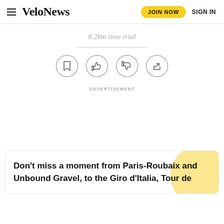VeloNews — JOIN NOW  SIGN IN
8.2km time trial
[Figure (infographic): Four circular icon buttons in a row: bookmark, thumbs up, thumbs down, share]
ADVERTISEMENT
Don't miss a moment from Paris-Roubaix and Unbound Gravel, to the Giro d'Italia, Tour de